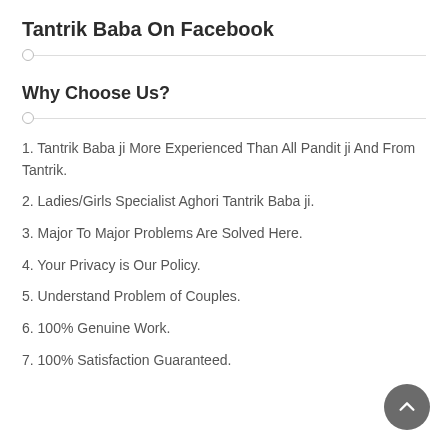Tantrik Baba On Facebook
Why Choose Us?
1. Tantrik Baba ji More Experienced Than All Pandit ji And From Tantrik.
2. Ladies/Girls Specialist Aghori Tantrik Baba ji.
3. Major To Major Problems Are Solved Here.
4. Your Privacy is Our Policy.
5. Understand Problem of Couples.
6. 100% Genuine Work.
7. 100% Satisfaction Guaranteed.